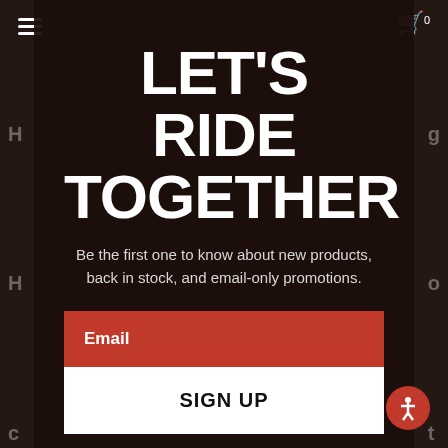[Figure (screenshot): Website popup modal on dark overlay background showing newsletter signup form for a motorcycle/riding brand with hamburger menu and cart icon visible]
LET'S RIDE TOGETHER
Be the first one to know about new products, back in stock, and email-only promotions.
Email
SIGN UP